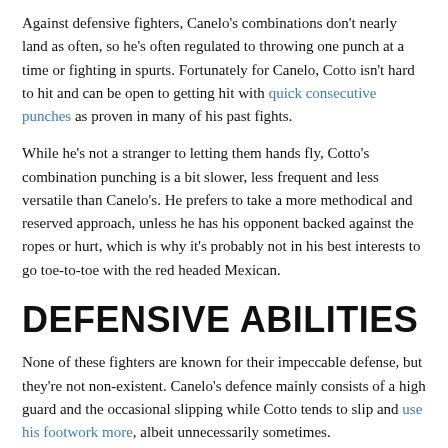Against defensive fighters, Canelo's combinations don't nearly land as often, so he's often regulated to throwing one punch at a time or fighting in spurts. Fortunately for Canelo, Cotto isn't hard to hit and can be open to getting hit with quick consecutive punches as proven in many of his past fights.
While he's not a stranger to letting them hands fly, Cotto's combination punching is a bit slower, less frequent and less versatile than Canelo's. He prefers to take a more methodical and reserved approach, unless he has his opponent backed against the ropes or hurt, which is why it's probably not in his best interests to go toe-to-toe with the red headed Mexican.
DEFENSIVE ABILITIES
None of these fighters are known for their impeccable defense, but they're not non-existent. Canelo's defence mainly consists of a high guard and the occasional slipping while Cotto tends to slip and use his footwork more, albeit unnecessarily sometimes.
It seems that Canelo is still working on his defense since he's still young and may not be in his prime yet, while it appears that Cotto has improved his defense under the guidance of Freddie Roach.